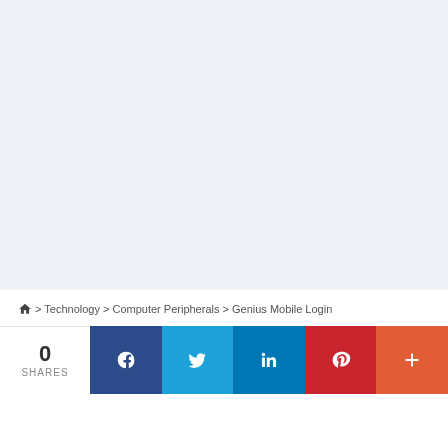[Figure (other): Light blue-grey blank area at top of page, likely an advertisement placeholder]
🏠 > Technology > Computer Peripherals > Genius Mobile Login
Genius Mobile Login
Editor  Prague, Czechia
0 SHARES